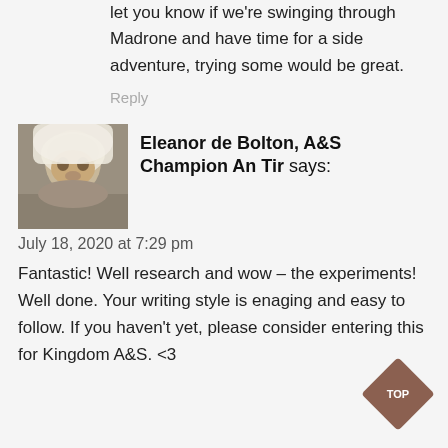let you know if we're swinging through Madrone and have time for a side adventure, trying some would be great.
Reply
[Figure (photo): Avatar photo of Eleanor de Bolton, A&S Champion An Tir — person wearing white veil/headwear]
Eleanor de Bolton, A&S Champion An Tir says:
July 18, 2020 at 7:29 pm
Fantastic! Well research and wow – the experiments! Well done. Your writing style is enaging and easy to follow. If you haven't yet, please consider entering this for Kingdom A&S. <3